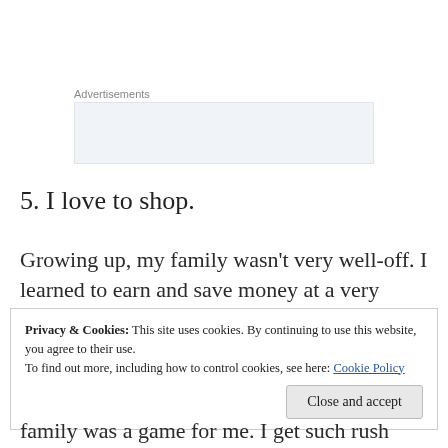Advertisements
[Figure (other): Advertisement placeholder box with light blue-grey background]
5. I love to shop.
Growing up, my family wasn’t very well-off. I learned to earn and save money at a very
Privacy & Cookies: This site uses cookies. By continuing to use this website, you agree to their use.
To find out more, including how to control cookies, see here: Cookie Policy
Close and accept
family was a game for me. I get such rush